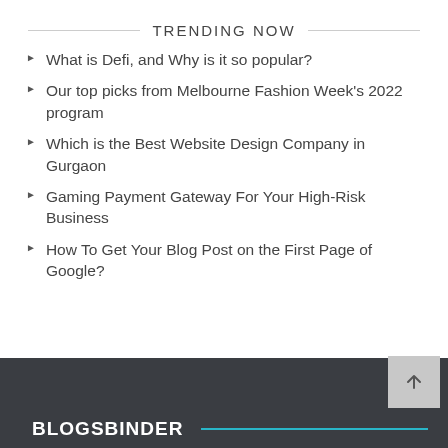TRENDING NOW
What is Defi, and Why is it so popular?
Our top picks from Melbourne Fashion Week's 2022 program
Which is the Best Website Design Company in Gurgaon
Gaming Payment Gateway For Your High-Risk Business
How To Get Your Blog Post on the First Page of Google?
BLOGSBINDER